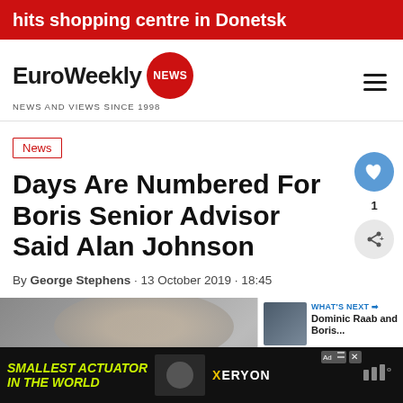hits shopping centre in Donetsk
EuroWeekly NEWS — NEWS AND VIEWS SINCE 1998
News
Days Are Numbered For Boris Senior Advisor Said Alan Johnson
By George Stephens · 13 October 2019 · 18:45
[Figure (photo): Photo of a person, partially visible at bottom of page]
WHAT'S NEXT → Dominic Raab and Boris...
SMALLEST ACTUATOR IN THE WORLD — XERYON advertisement